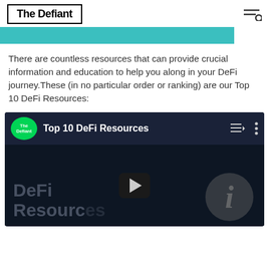The Defiant
[Figure (other): Teal/turquoise colored banner bar]
There are countless resources that can provide crucial information and education to help you along in your DeFi journey.These (in no particular order or ranking) are our Top 10 DeFi Resources:
[Figure (screenshot): YouTube video player showing 'Top 10 DeFi Resources' with The Defiant channel icon (green circle), playlist and more icons in header, and dark thumbnail showing 'DeFi Resources' text with a play button and info circle icon]